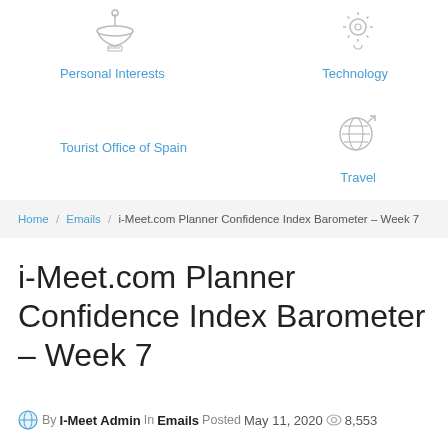[Figure (illustration): Graduation cap icon above 'Personal Interests' link (left column)]
Personal Interests
[Figure (illustration): Lightbulb/settings gear icon above 'Technology' link (right column)]
Technology
Tourist Office of Spain
[Figure (illustration): Globe with arrow icon above 'Travel' link (right column)]
Travel
Home / Emails / i-Meet.com Planner Confidence Index Barometer – Week 7
i-Meet.com Planner Confidence Index Barometer – Week 7
By I-Meet Admin In Emails Posted May 11, 2020 8,553